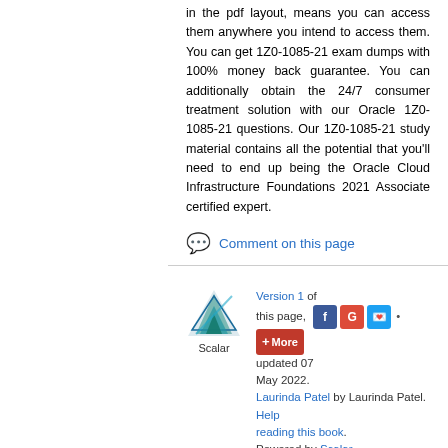in the pdf layout, means you can access them anywhere you intend to access them. You can get 1Z0-1085-21 exam dumps with 100% money back guarantee. You can additionally obtain the 24/7 consumer treatment solution with our Oracle 1Z0-1085-21 questions. Our 1Z0-1085-21 study material contains all the potential that you'll need to end up being the Oracle Cloud Infrastructure Foundations 2021 Associate certified expert.
Comment on this page
Version 1 of this page, updated 07 May 2022. Laurinda Patel by Laurinda Patel. Help reading this book. Powered by Scalar.